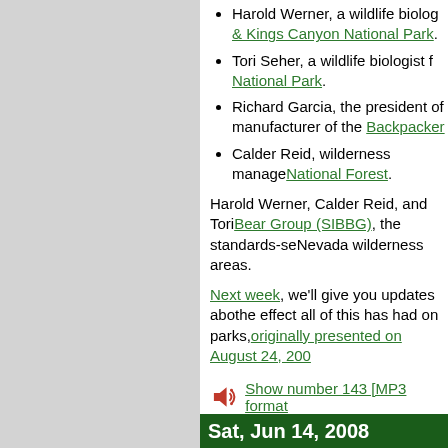Harold Werner, a wildlife biologist [Sequoia & Kings Canyon National Park].
Tori Seher, a wildlife biologist f[rom] National Park.
Richard Garcia, the president of [a] manufacturer of the Backpacker[...]
Calder Reid, wilderness manage[r of] National Forest.
Harold Werner, Calder Reid, and Tori [are members of the Sierra] Bear Group (SIBBG), the standards-se[tting body for] Nevada wilderness areas.
Next week, we'll give you updates abo[ut] the effect all of this has had on parks, [as] originally presented on August 24, 200[...]
Show number 143 [MP3 format]
Show number 143 script
Sat, Jun 14, 2008
Women of Color 4 Day Back[...]